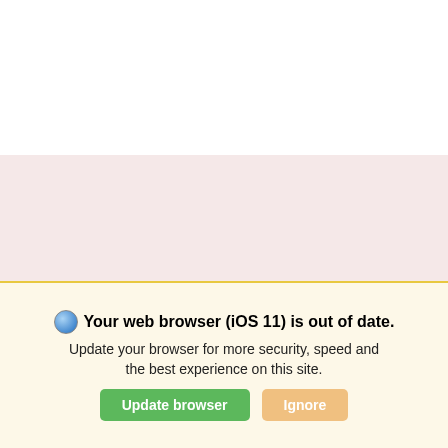SCHEDULE A TEST DRIVE
*First Name
*Last Name
*Email
Phone
I PREFER TO TEXT
CHECK ON AVAILABILITY
BUY@HOME
Your web browser (iOS 11) is out of date. Update your browser for more security, speed and the best experience on this site.
Update browser
Ignore